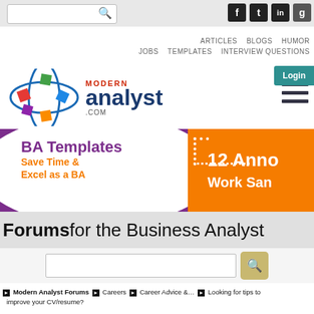Navigation bar with search and social icons (Facebook, Twitter, LinkedIn, Google+)
ARTICLES  BLOGS  HUMOR  JOBS  TEMPLATES  INTERVIEW QUESTIONS
[Figure (logo): Modern Analyst .com logo with colored squares orbit graphic]
[Figure (screenshot): Login button (teal) and hamburger menu icon]
[Figure (screenshot): Banner ad: BA Templates Save Time & Excel as a BA | 12 Anno... Work San...]
Forums for the Business Analyst
[Figure (screenshot): Search input box with camera search icon]
▶ Modern Analyst Forums ▶ Careers ▶ Career Advice &... ▶ Looking for tips to improve your CV/resume?